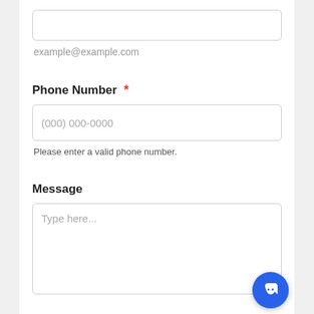[Figure (screenshot): Empty email input field with rounded rectangle border]
example@example.com
Phone Number *
[Figure (screenshot): Phone number input field with placeholder (000) 000-0000]
Please enter a valid phone number.
Message
[Figure (screenshot): Message textarea with placeholder Type here...]